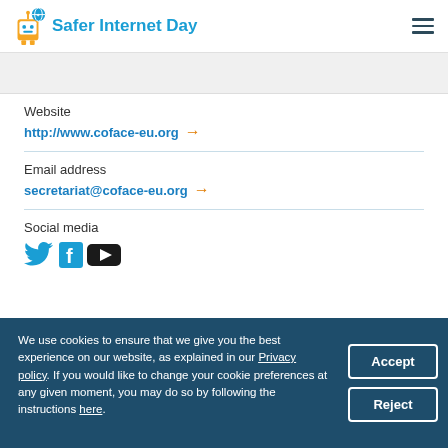Safer Internet Day
Website
http://www.coface-eu.org
Email address
secretariat@coface-eu.org
Social media
[Figure (illustration): Social media icons: Twitter bird, Facebook f, YouTube play button]
We use cookies to ensure that we give you the best experience on our website, as explained in our Privacy policy. If you would like to change your cookie preferences at any given moment, you may do so by following the instructions here.